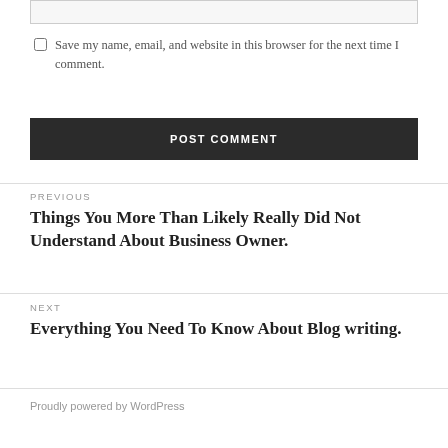Save my name, email, and website in this browser for the next time I comment.
POST COMMENT
PREVIOUS
Things You More Than Likely Really Did Not Understand About Business Owner.
NEXT
Everything You Need To Know About Blog writing.
Proudly powered by WordPress